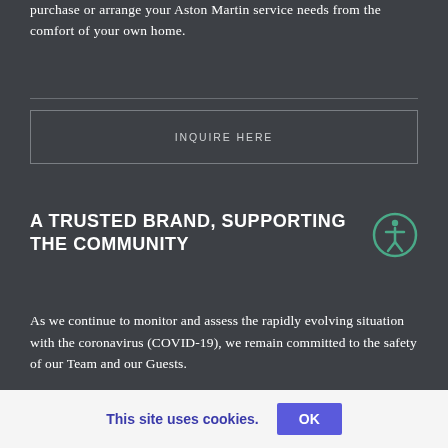purchase or arrange your Aston Martin service needs from the comfort of your own home.
INQUIRE HERE
A TRUSTED BRAND, SUPPORTING THE COMMUNITY
As we continue to monitor and assess the rapidly evolving situation with the coronavirus (COVID-19), we remain committed to the safety of our Team and our Guests.
For the safety of our Guests as well as our Team Members
This site uses cookies.